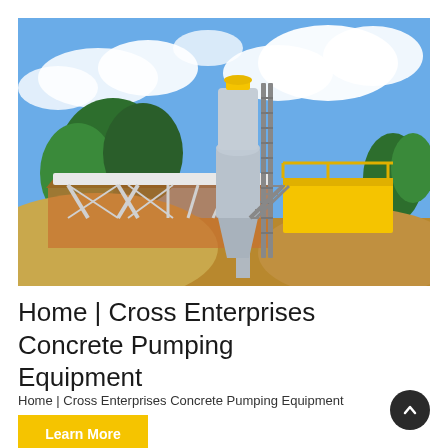[Figure (photo): Outdoor concrete batching plant with a large cylindrical silo, white steel conveyor frame structure, yellow metal platforms and railings, surrounded by sand/gravel mounds and tropical trees under a blue sky with clouds.]
Home | Cross Enterprises Concrete Pumping Equipment
Home | Cross Enterprises Concrete Pumping Equipment
Learn More